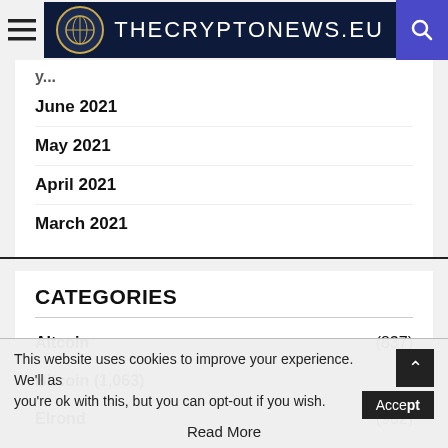THECRYPTONEWS.EU
June 2021
May 2021
April 2021
March 2021
CATEGORIES
Altcoin (837)
Bitcoin (1,063)
Elrond (962)
This website uses cookies to improve your experience. We'll as you're ok with this, but you can opt-out if you wish. Accept Read More